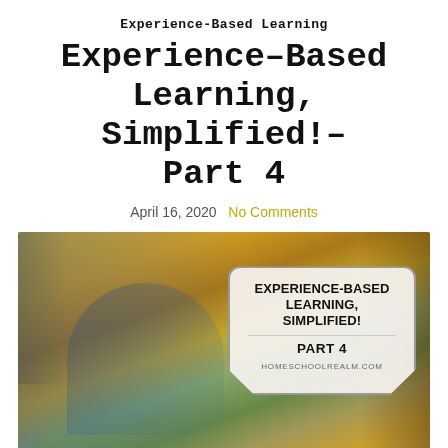Experience-Based Learning
Experience-Based Learning, Simplified!- Part 4
April 16, 2020   No Comments
[Figure (photo): A young boy with eyes closed wearing blue headphones outdoors among autumn yellow leaves, with a badge overlay reading EXPERIENCE-BASED LEARNING, SIMPLIFIED! PART 4 HOMESCHOOLREALM.COM]
Privacy & Cookies Policy